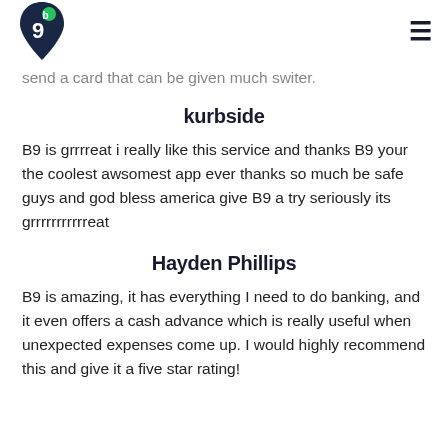B9 logo and navigation menu
send a card that can be given much switer.
kurbside
B9 is grrrreat i really like this service and thanks B9 your the coolest awsomest app ever thanks so much be safe guys and god bless america give B9 a try seriously its grrrrrrrrrrreat
Hayden Phillips
B9 is amazing, it has everything I need to do banking, and it even offers a cash advance which is really useful when unexpected expenses come up. I would highly recommend this and give it a five star rating!